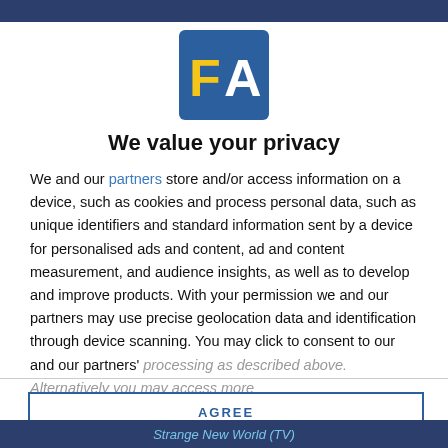[Figure (logo): FA logo — blue square background with yellow letter F and white letter A]
We value your privacy
We and our partners store and/or access information on a device, such as cookies and process personal data, such as unique identifiers and standard information sent by a device for personalised ads and content, ad and content measurement, and audience insights, as well as to develop and improve products. With your permission we and our partners may use precise geolocation data and identification through device scanning. You may click to consent to our and our partners' processing as described above. Alternatively you may access more
AGREE
MORE OPTIONS
Strange New World (TV)